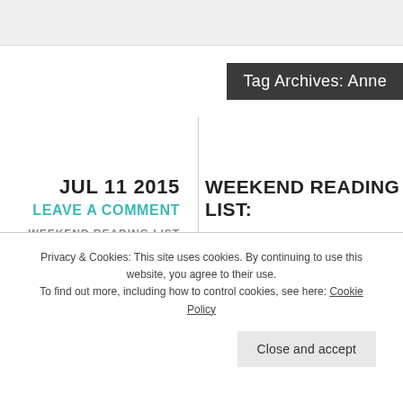Tag Archives: Anne
JUL 11 2015
LEAVE A COMMENT
WEEKEND READING LIST
WEEKEND READING LIST:
[Figure (illustration): Vintage engraving illustration of a classical or mythological female figure with elaborate hair and costume, rendered in black and white line art style.]
Privacy & Cookies: This site uses cookies. By continuing to use this website, you agree to their use.
To find out more, including how to control cookies, see here: Cookie Policy
Close and accept